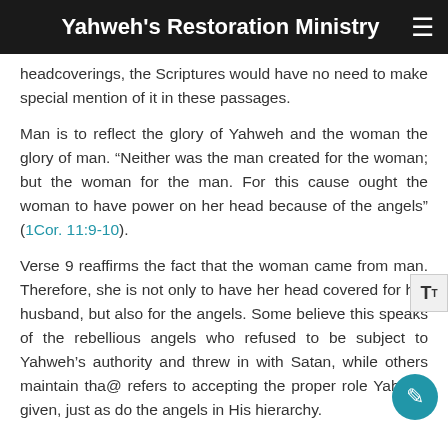Yahweh's Restoration Ministry
headcoverings, the Scriptures would have no need to make special mention of it in these passages.
Man is to reflect the glory of Yahweh and the woman the glory of man. “Neither was the man created for the woman; but the woman for the man. For this cause ought the woman to have power on her head because of the angels” (1Cor. 11:9-10).
Verse 9 reaffirms the fact that the woman came from man. Therefore, she is not only to have her head covered for her husband, but also for the angels. Some believe this speaks of the rebellious angels who refused to be subject to Yahweh’s authority and threw in with Satan, while others maintain that refers to accepting the proper role Yahweh given, just as do the angels in His hierarchy.